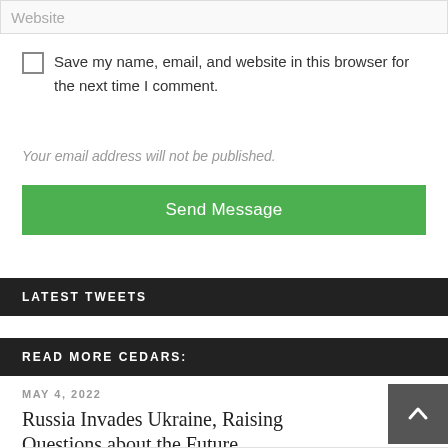[Figure (screenshot): Website input field placeholder text]
Save my name, email, and website in this browser for the next time I comment.
Your email address will not be published.
Send Message
LATEST TWEETS
READ MORE CEDARS:
MAY 4, 2022
Russia Invades Ukraine, Raising Questions about the Future